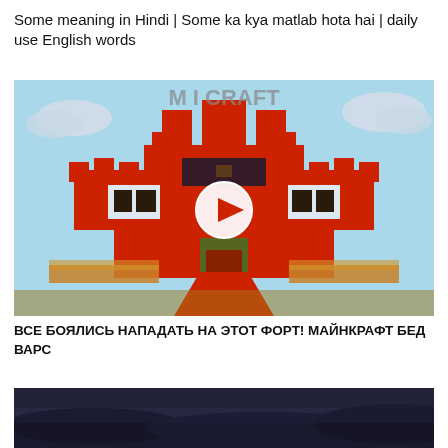Some meaning in Hindi | Some ka kya matlab hota hai | daily use English words
[Figure (screenshot): Minecraft Bed Wars video thumbnail showing a large red fortress/castle structure with a play button overlay. The Minecraft logo is partially visible at the top. Sky with clouds in background.]
ВСЕ БОЯЛИСЬ НАПАДАТЬ НА ЭТОТ ФОРТ! МАЙНКРАФТ БЕД ВАРС
[Figure (screenshot): Partial screenshot of a dark landscape image, partially cropped at the bottom of the page.]